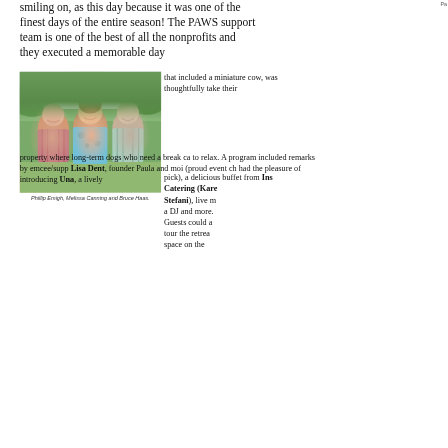smiling on, as this day because it was one of the finest days of the entire season! The PAWS support team is one of the best of all the nonprofits and they executed a memorable day
Pa
[Figure (photo): Three people smiling outdoors at an event with a white tent in the background. Two men flank a woman in the center wearing a blue floral top.]
Phillip Emigh, Melissa Canning and Bruce Haas.
that included a miniature cow, was thoughtfully take their
pick), a delicious buffet from Inspired Catering (Karen Stefani), live music, a DJ and more. Guests could also tour the retreat space on the property where long-term dogs who need a break can to relax. A program included remarks by emcee/supp Lisa Dent, founder Paula and moi (proud event cha had the pleasure of introducing Una, a lively